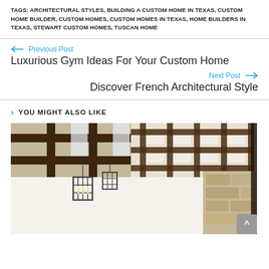TAGS: ARCHITECTURAL STYLES, BUILDING A CUSTOM HOME IN TEXAS, CUSTOM HOME BUILDER, CUSTOM HOMES, CUSTOM HOMES IN TEXAS, HOME BUILDERS IN TEXAS, STEWART CUSTOM HOMES, TUSCAN HOME
← Previous Post
Luxurious Gym Ideas For Your Custom Home
Next Post →
Discover French Architectural Style
> YOU MIGHT ALSO LIKE
[Figure (photo): Interior photo of a room with exposed dark wooden beam ceiling grid structure, pendant lantern-style light fixtures hanging down, white walls, and stone accent wall visible in background.]